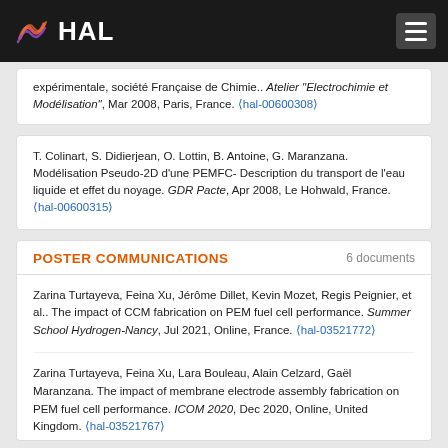HAL
expérimentale, société Française de Chimie.. Atelier "Electrochimie et Modélisation", Mar 2008, Paris, France. ⟨hal-00600308⟩
T. Colinart, S. Didierjean, O. Lottin, B. Antoine, G. Maranzana. Modélisation Pseudo-2D d'une PEMFC- Description du transport de l'eau liquide et effet du noyage. GDR Pacte, Apr 2008, Le Hohwald, France. ⟨hal-00600315⟩
POSTER COMMUNICATIONS   6 documents
Zarina Turtayeva, Feina Xu, Jérôme Dillet, Kevin Mozet, Regis Peignier, et al.. The impact of CCM fabrication on PEM fuel cell performance. Summer School Hydrogen-Nancy, Jul 2021, Online, France. ⟨hal-03521772⟩
Zarina Turtayeva, Feina Xu, Lara Bouleau, Alain Celzard, Gaël Maranzana. The impact of membrane electrode assembly fabrication on PEM fuel cell performance. ICOM 2020, Dec 2020, Online, United Kingdom. ⟨hal-03521767⟩